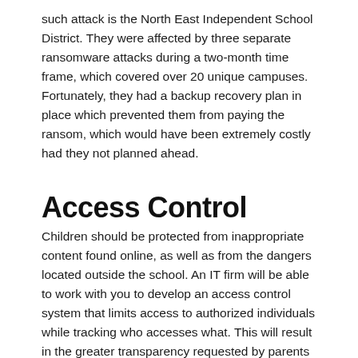such attack is the North East Independent School District. They were affected by three separate ransomware attacks during a two-month time frame, which covered over 20 unique campuses. Fortunately, they had a backup recovery plan in place which prevented them from paying the ransom, which would have been extremely costly had they not planned ahead.
Access Control
Children should be protected from inappropriate content found online, as well as from the dangers located outside the school. An IT firm will be able to work with you to develop an access control system that limits access to authorized individuals while tracking who accesses what. This will result in the greater transparency requested by parents and school boards, though not the content typically observed by the